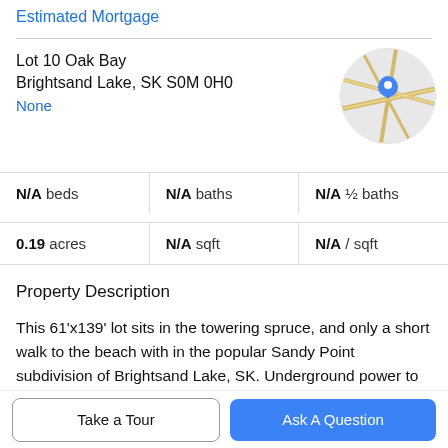Estimated Mortgage
Lot 10 Oak Bay
Brightsand Lake, SK S0M 0H0
None
[Figure (map): Circular map thumbnail with blue location pin marker over road map of Brightsand Lake area]
N/A beds | N/A baths | N/A ½ baths
0.19 acres | N/A sqft | N/A / sqft
Property Description
This 61'x139' lot sits in the towering spruce, and only a short walk to the beach with in the popular Sandy Point subdivision of Brightsand Lake, SK. Underground power to property line. GST applies. Prospective buyers are
advised that lots within the Lakeshore Development
Take a Tour
Ask A Question